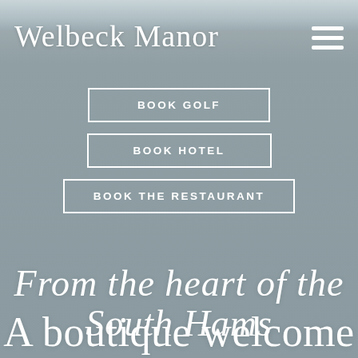[Figure (screenshot): Welbeck Manor hotel website hero page with grey/blue sky background, logo, hamburger menu, booking buttons, script tagline, and headline text]
Welbeck Manor
BOOK GOLF
BOOK HOTEL
BOOK THE RESTAURANT
From the heart of the South Hams
A boutique welcome